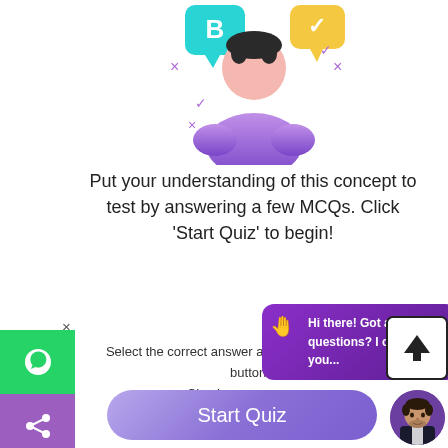[Figure (illustration): Cartoon illustration of a person with speech bubbles containing a B letter icon and checkmarks, purple color theme, quiz/education themed]
Put your understanding of this concept to test by answering a few MCQs. Click ‘Start Quiz’ to begin!
Select the correct answer and click on the “Finish” button.
Check your score ar...
[Figure (screenshot): Purple chat bubble overlay saying 'Hi there! Got any questions? I can help you...' with waving hand emoji]
[Figure (other): Upload/scroll-to-top arrow button in bordered box]
[Figure (other): Avatar circle showing a man in suit photo]
[Figure (other): Left social sharing bar with WhatsApp (green), share (purple), phone (orange) icons and close X]
Start Quiz